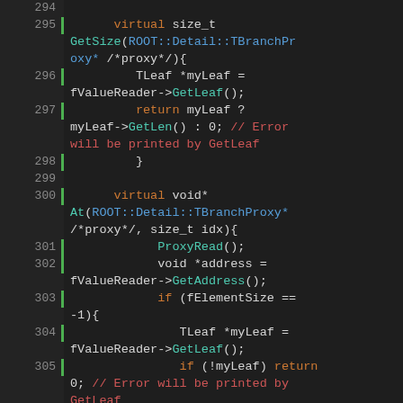[Figure (screenshot): Source code editor showing C++ code lines 294-313 with syntax highlighting on dark background. Green bar on left side for line numbers. Colors: orange for keywords (return, void, virtual, if, protected), teal for function names and types (GetSize, GetLeaf, GetAddress, GetLenType, ProxyRead), red for comments, blue/teal for ROOT::Detail::TBranchProxy*, white for regular code.]